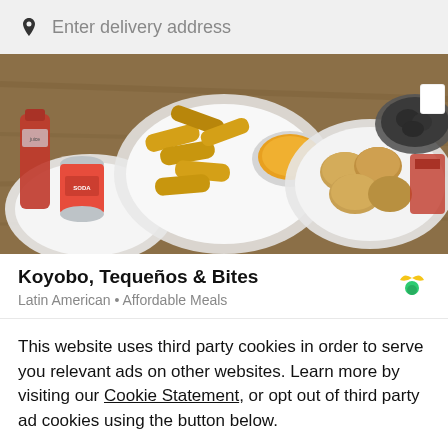Enter delivery address
[Figure (photo): Overhead view of food spread with breaded rolls, sauces, drinks (soda can, juice bottle), and baked goods on plates and bowls on a wooden table]
Koyobo, Tequeños & Bites
Latin American • Affordable Meals
This website uses third party cookies in order to serve you relevant ads on other websites. Learn more by visiting our Cookie Statement, or opt out of third party ad cookies using the button below.
Opt out
Got it